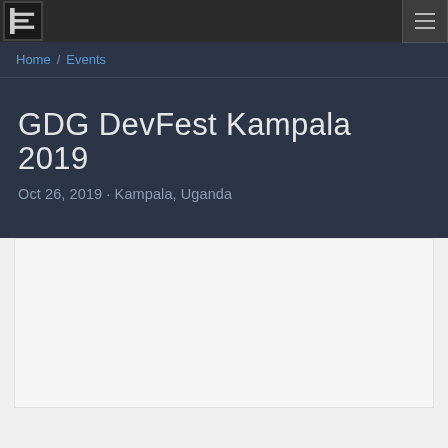GDG DevFest Kampala 2019 — navigation bar with logo and hamburger menu
Home / Events
GDG DevFest Kampala 2019
Oct 26, 2019 · Kampala, Uganda
[Figure (other): Empty light gray content area / image placeholder box]